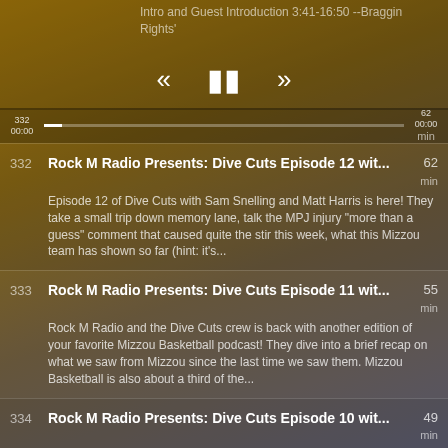Intro and Guest Introduction 3:41-16:50 --Braggin Rights'
[Figure (screenshot): Media player controls: rewind (<<), pause (||), fast-forward (>>) buttons]
332 | Rock M Radio Presents: Dive Cuts Episode 12 wit... | 62 min | Episode 12 of Dive Cuts with Sam Snelling and Matt Harris is here! They take a small trip down memory lane, talk the MPJ injury "more than a guess" comment that caused quite the stir this week, what this Mizzou team has shown so far (hint: it's...
333 | Rock M Radio Presents: Dive Cuts Episode 11 wit... | 55 min | Rock M Radio and the Dive Cuts crew is back with another edition of your favorite Mizzou Basketball podcast! They dive into a brief recap on what we saw from Mizzou since the last time we saw them. Mizzou Basketball is also about a third of the...
334 | Rock M Radio Presents: Dive Cuts Episode 10 wit... | 49 min | Dive Cuts is back with another episode presented by Rock M Radio for Rock M Nation. Sam and Matt dive into their thoughts on what